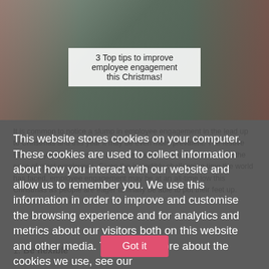[Figure (photo): Group of people at a festive gathering, with a text overlay reading '3 Top tips to improve employee engagement this Christmas!']
This website stores cookies on your computer. These cookies are used to collect information about how you interact with our website and allow us to remember you. We use this information in order to improve and customise the browsing experience and for analytics and metrics about our visitors both on this website and other media. To find out more about the cookies we use, see our Privacy Policy
It is common to notice a slump in employee engagement in the lead up to Christmas and this year it may be even more prevalent. The festive season symbolizes the end of the year and a well-deserved rest in the case of most employees. Given the incredibly challenging time the world has faced, employee engagement may be at an all-time low this Christmas as people are eager to finally be able to put their feet up.
Read our top 3 tips on how to improve employee's engagement during the festive period!
1. Be flexible